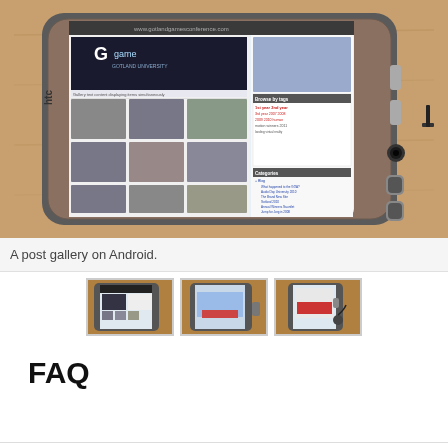[Figure (photo): HTC Android smartphone lying on a wooden surface, displaying a website with a game/media gallery. The phone has physical buttons on the right side. The screen shows a website with image thumbnails and tag cloud.]
A post gallery on Android.
[Figure (photo): Three thumbnail images of the same HTC Android smartphone from different angles, showing the device displaying various content.]
FAQ